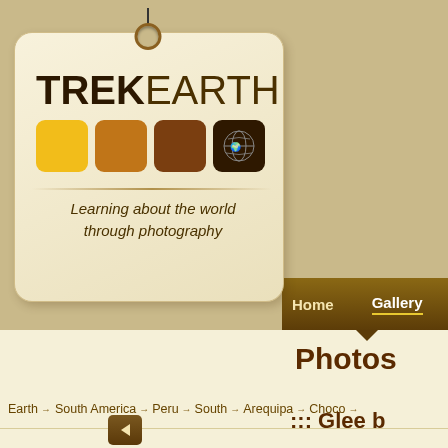[Figure (logo): TrekEarth logo — a tag-shaped card with string/hole at top, bold TREKEARTH text, four colored squares (yellow, brown, dark brown, near-black with world map icon), a horizontal divider, and italic tagline 'Learning about the world through photography']
Home   Gallery   Forums   C…
Photos
Earth → South America → Peru → South → Arequipa → Choco →
::: Glee b